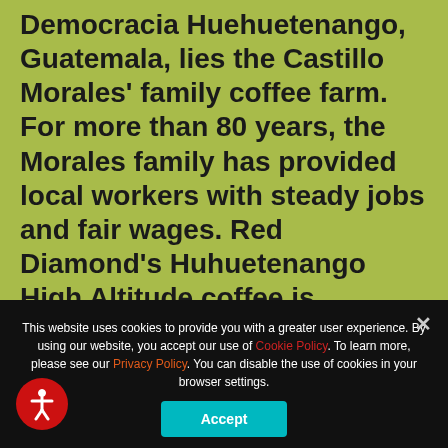Democracia Huehuetenango, Guatemala, lies the Castillo Morales' family coffee farm. For more than 80 years, the Morales family has provided local workers with steady jobs and fair wages. Red Diamond's Huhuetenango High Altitude coffee is sourced from these inspiring communities.
This website uses cookies to provide you with a greater user experience. By using our website, you accept our use of Cookie Policy. To learn more, please see our Privacy Policy. You can disable the use of cookies in your browser settings.